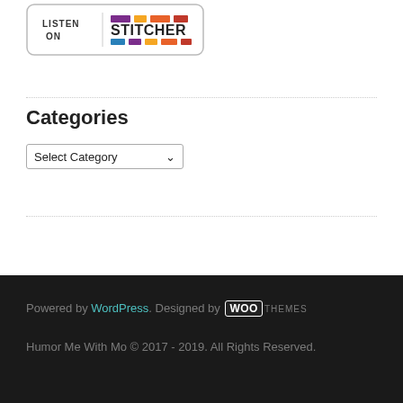[Figure (logo): Listen on Stitcher badge with colorful block logo]
Categories
[Figure (screenshot): Select Category dropdown menu]
Powered by WordPress. Designed by WooThemes. Humor Me With Mo © 2017 - 2019. All Rights Reserved.